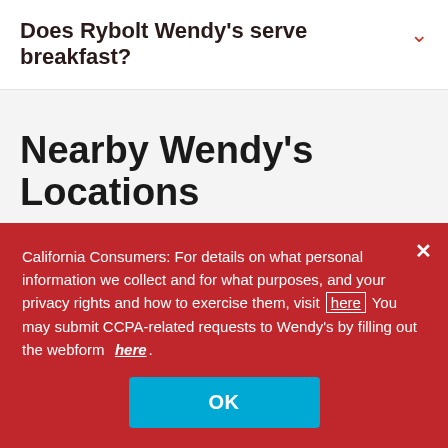Does Rybolt Wendy's serve breakfast?
Nearby Wendy's Locations
6330 St Rt 128 >
California Consumers: For details on what personal information we collect and for what purposes, and your privacy rights and how to exercise them, visit here You may submit CCPA-related requests to Wendy's by filling out the webform here.